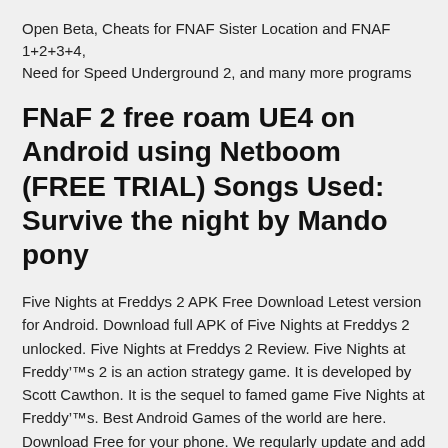Open Beta, Cheats for FNAF Sister Location and FNAF 1+2+3+4, Need for Speed Underground 2, and many more programs
FNaF 2 free roam UE4 on Android using Netboom (FREE TRIAL) Songs Used: Survive the night by Mando pony
Five Nights at Freddys 2 APK Free Download Letest version for Android. Download full APK of Five Nights at Freddys 2 unlocked. Five Nights at Freddys 2 Review. Five Nights at Freddy’™s 2 is an action strategy game. It is developed by Scott Cawthon. It is the sequel to famed game Five Nights at Freddy’™s. Best Android Games of the world are here. Download Free for your phone. We regularly update and add new apps. Ratings of the most popular Mobile games. Play with pleasure! FNAF 4 Free apk Android Download. Panther 3.10, MB 117.44, … game 3.10 d